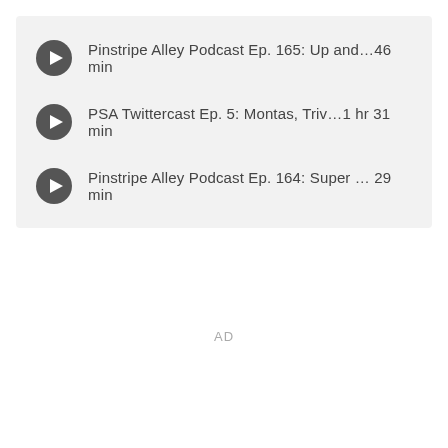Pinstripe Alley Podcast Ep. 165: Up and… 46 min
PSA Twittercast Ep. 5: Montas, Triv… 1 hr 31 min
Pinstripe Alley Podcast Ep. 164: Super … 29 min
AD